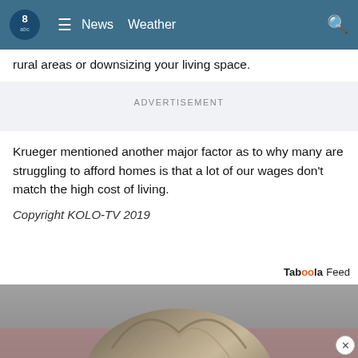8abc | News Weather
rural areas or downsizing your living space.
ADVERTISEMENT
Krueger mentioned another major factor as to why many are struggling to afford homes is that a lot of our wages don't match the high cost of living.
Copyright KOLO-TV 2019
Taboola Feed
[Figure (photo): Bottom portion of page showing a person's head/hair from behind, partially visible at the bottom of the screen, with a close button (X) in the lower right corner.]